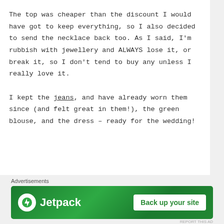The top was cheaper than the discount I would have got to keep everything, so I also decided to send the necklace back too. As I said, I'm rubbish with jewellery and ALWAYS lose it, or break it, so I don't tend to buy any unless I really love it.
I kept the jeans, and have already worn them since (and felt great in them!), the green blouse, and the dress – ready for the wedding!
[Figure (other): Jetpack advertisement banner with green background, Jetpack logo on left and 'Back up your site' button on right]